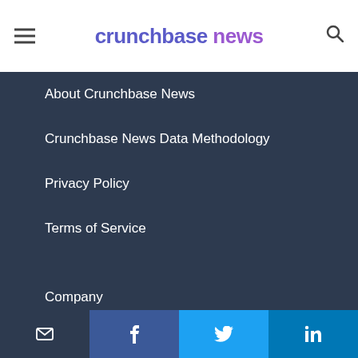crunchbase news
About Crunchbase News
Crunchbase News Data Methodology
Privacy Policy
Terms of Service
Company
Careers
Partners
Blog
Contact Us
Email | Facebook | Twitter | LinkedIn